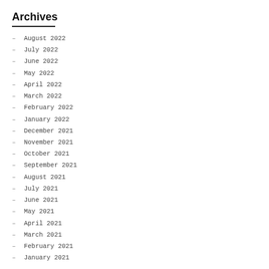Archives
August 2022
July 2022
June 2022
May 2022
April 2022
March 2022
February 2022
January 2022
December 2021
November 2021
October 2021
September 2021
August 2021
July 2021
June 2021
May 2021
April 2021
March 2021
February 2021
January 2021